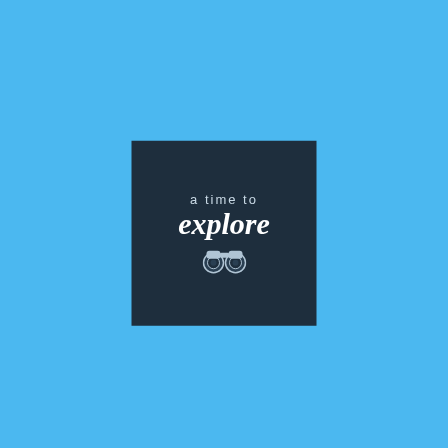[Figure (logo): A dark navy square logo with the text 'a time to explore' and a binoculars icon below, centered on a sky-blue background.]